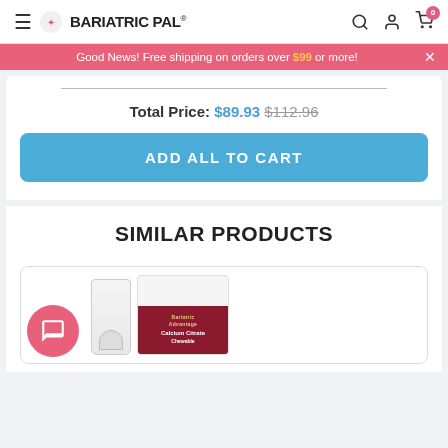BariatricPal
Good News! Free shipping on orders over $99 or more!
Total Price: $89.93 $112.96
ADD ALL TO CART
SIMILAR PRODUCTS
[Figure (photo): Product image of Bariatric Advantage Calcium Citrate supplement, showing a white bottle and packaging with dark red/maroon label]